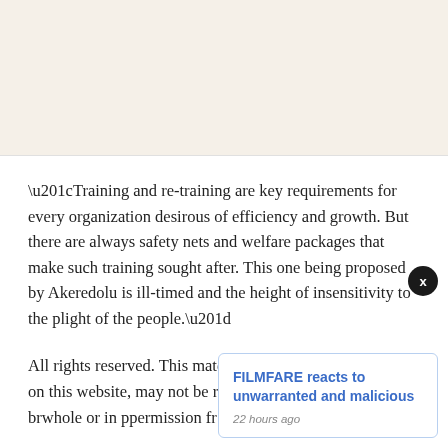“Training and re-training are key requirements for every organization desirous of efficiency and growth. But there are always safety nets and welfare packages that make such training sought after. This one being proposed by Akeredolu is ill-timed and the height of insensitivity to the plight of the people.”
All rights reserved. This material, and other digital content on this website, may not be reproduced, published, br… whole or in p… permission fr…
FILMFARE reacts to unwarranted and malicious
22 hours ago